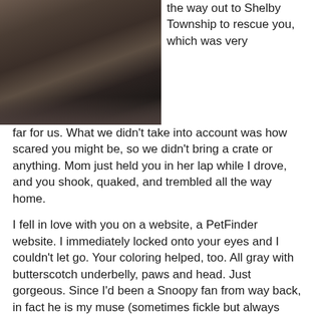[Figure (photo): Close-up photo of a gray and butterscotch cat, partially cropped, showing the face and upper body against a dark background.]
the way out to Shelby Township to rescue you, which was very far for us. What we didn't take into account was how scared you might be, so we didn't bring a crate or anything. Mom just held you in her lap while I drove, and you shook, quaked, and trembled all the way home.
I fell in love with you on a website, a PetFinder website. I immediately locked onto your eyes and I couldn't let go. Your coloring helped, too. All gray with butterscotch underbelly, paws and head. Just gorgeous. Since I'd been a Snoopy fan from way back, in fact he is my muse (sometimes fickle but always good for a laugh and dances like wild when he's happy and fed), if you had been a boy I would have named you after him. But you were a girl, and I was overjoyed to christen you the oh-so-clever Lucy, Linus's older brother, and Charlie Brown's pain in the neck.